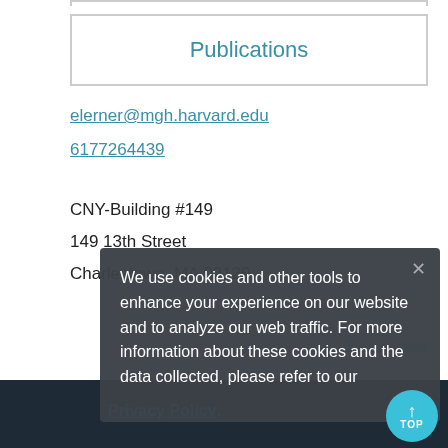Publications
elerner@mgh.harvard.edu
6177264439
CNY-Building #149
149 13th Street
Charlestown, MA 02129
We use cookies and other tools to enhance your experience on our website and to analyze our web traffic. For more information about these cookies and the data collected, please refer to our Privacy Policy.
Edit your page